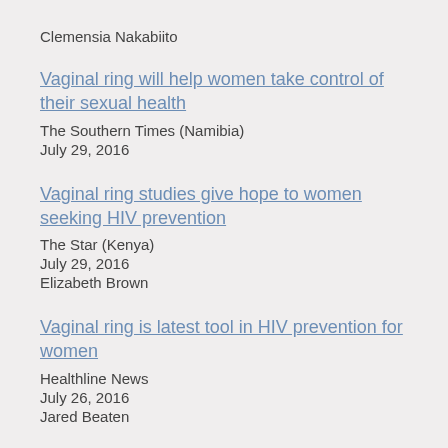Clemensia Nakabiito
Vaginal ring will help women take control of their sexual health
The Southern Times (Namibia)
July 29, 2016
Vaginal ring studies give hope to women seeking HIV prevention
The Star (Kenya)
July 29, 2016
Elizabeth Brown
Vaginal ring is latest tool in HIV prevention for women
Healthline News
July 26, 2016
Jared Beaten